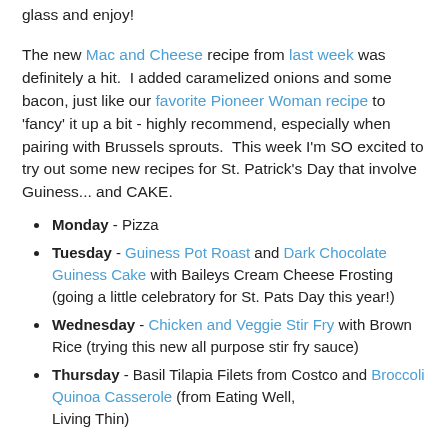glass and enjoy!
The new Mac and Cheese recipe from last week was definitely a hit.  I added caramelized onions and some bacon, just like our favorite Pioneer Woman recipe to 'fancy' it up a bit - highly recommend, especially when pairing with Brussels sprouts.  This week I'm SO excited to try out some new recipes for St. Patrick's Day that involve Guiness... and CAKE.
Monday - Pizza
Tuesday - Guiness Pot Roast and Dark Chocolate Guiness Cake with Baileys Cream Cheese Frosting (going a little celebratory for St. Pats Day this year!)
Wednesday - Chicken and Veggie Stir Fry with Brown Rice (trying this new all purpose stir fry sauce)
Thursday - Basil Tilapia Filets from Costco and Broccoli Quinoa Casserole (from Eating Well, Living Thin)